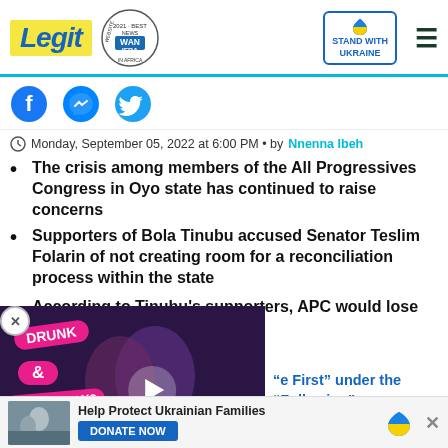[Figure (logo): Legit.ng logo with yellow background and WAN-IFRA 2021 Best News Website in Africa badge, Stand with Ukraine box, hamburger menu]
[Figure (infographic): Facebook, Messenger, and Twitter social share icons in a row]
Monday, September 05, 2022 at 6:00 PM • by Nnenna Ibeh
The crisis among members of the All Progressives Congress in Oyo state has continued to raise concerns
Supporters of Bola Tinubu accused Senator Teslim Folarin of not creating room for a reconciliation process within the state
According to Tinubu's supporters, APC would lose the ... members of the party fail to
[Figure (screenshot): Video overlay showing 'DRUNK & DISORDERLY?' thumbnail with play button over purple/dark background with couple image]
e First" under the "Following" ur Facebook News Feed!
[Figure (infographic): Bottom bar: Help Protect Ukrainian Families with DONATE NOW button and heart Ukraine flag icon, close X button]